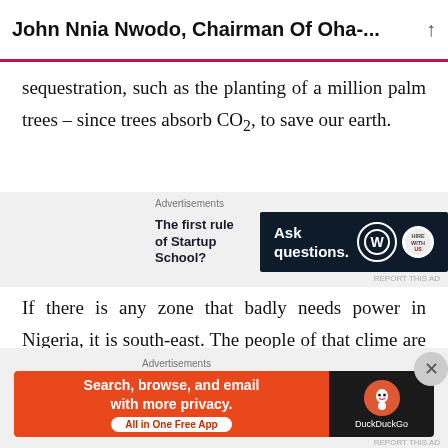John Nnia Nwodo, Chairman Of Oha-...
sequestration, such as the planting of a million palm trees – since trees absorb CO₂, to save our earth.
[Figure (other): Advertisement section with two ads: a text ad reading 'The first rule of Startup School?' and a dark banner ad reading 'Ask questions.' with WordPress and other logos.]
If there is any zone that badly needs power in Nigeria, it is south-east. The people of that clime are industrious with manufacturing and fabrication. Lack of electric power has really kept the manufacturing hubs of Aba, Nnewi and Onitsha dow
[Figure (other): DuckDuckGo advertisement banner: 'Search, browse, and email with more privacy. All in One Free App']